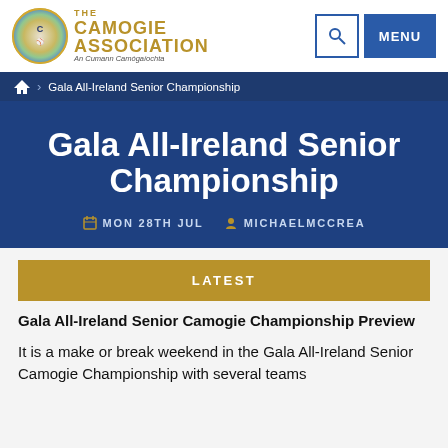[Figure (logo): The Camogie Association logo with circular emblem and gold text]
THE CAMOGIE ASSOCIATION An Cumann Camógaíochta
Gala All-Ireland Senior Championship
Gala All-Ireland Senior Championship
MON 28TH JUL   MICHAELMCCREA
LATEST
Gala All-Ireland Senior Camogie Championship Preview
It is a make or break weekend in the Gala All-Ireland Senior Camogie Championship with several teams